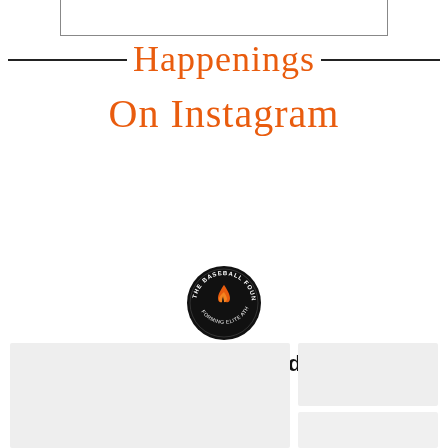Happenings On Instagram
[Figure (logo): The Baseball Foundry circular logo with flame icon and text around the border]
@baseballfoundry
[Figure (photo): Two Instagram post image placeholders shown at the bottom of the page]